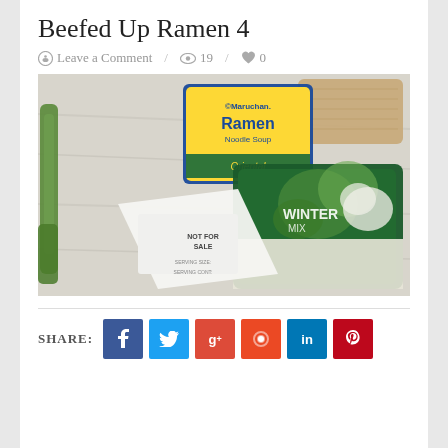Beefed Up Ramen 4
💬 Leave a Comment / 👁 19 / ❤ 0
[Figure (photo): Photo of ramen ingredients on a marble surface: green onion, Maruchan Oriental Ramen Noodle Soup packet, a wooden cutting board, a bag of Winter Mix vegetables (broccoli, cauliflower), and a white packet labeled NOT FOR SALE.]
SHARE:
Social share buttons: Facebook, Twitter, Google+, StumbleUpon, LinkedIn, Pinterest